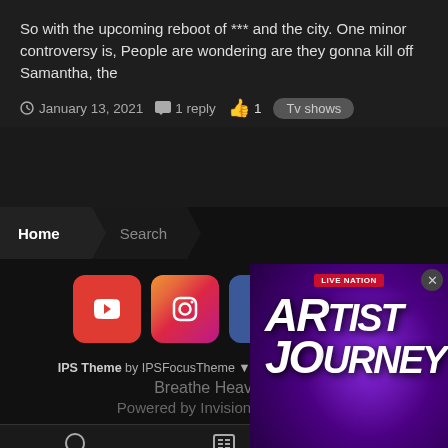So with the upcoming reboot of *** and the city. One minor controversy is, People are wondering are they gonna kill off Samantha, the
January 13, 2021  1 reply  👍 1  Tv shows
Home  Search
[Figure (infographic): Social media icons: YouTube, Instagram, Facebook, Twitter]
IPS Theme by IPSFocusTheme ▼Privacy PolicyContact Us
Breathe Heavy LLC
Powered by Invision Community
[Figure (infographic): Advertisement: Live Nation - Artist Journey - The Rolling Stones]
Forums  Unread  Start new